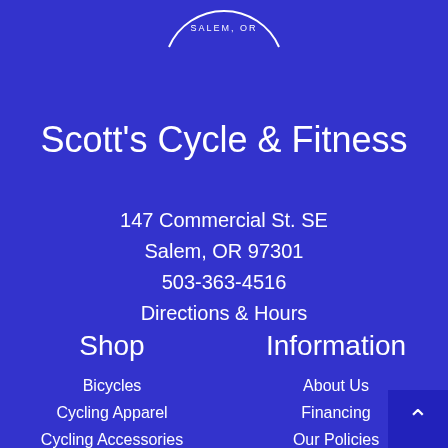[Figure (logo): Circular logo with text SALEM, OR at the bottom]
Scott's Cycle & Fitness
147 Commercial St. SE
Salem, OR 97301
503-363-4516
Directions & Hours
Shop
Bicycles
Cycling Apparel
Cycling Accessories
Bike Components
Information
About Us
Financing
Our Policies